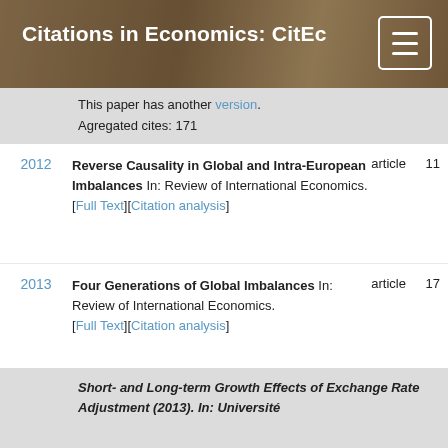Citations in Economics: CitEc
This paper has another version. Agregated cites: 171
2012 Reverse Causality in Global and Intra-European Imbalances In: Review of International Economics. [Full Text][Citation analysis] article 11
2013 Four Generations of Global Imbalances In: Review of International Economics. [Full Text][Citation analysis] article 17
2013 Short- and Long-term Growth Effects of Exchange Rate Adjustment In: Review of International Economics. [Full Text][Citation analysis] article 8
Short- and Long-term Growth Effects of Exchange Rate Adjustment (2013). In: Université...